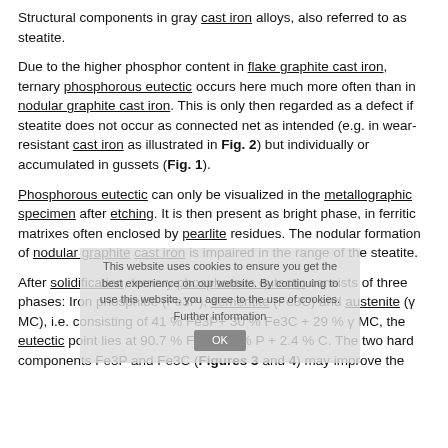Structural components in gray cast iron alloys, also referred to as steatite.
Due to the higher phosphor content in flake graphite cast iron, ternary phosphorous eutectic occurs here much more often than in nodular graphite cast iron. This is only then regarded as a defect if steatite does not occur as connected net as intended (e.g. in wear-resistant cast iron as illustrated in Fig. 2) but individually or accumulated in gussets (Fig. 1).
Phosphorous eutectic can only be visualized in the metallographic specimen after etching. It is then present as bright phase, in ferritic matrixes often enclosed by pearlite residues. The nodular formation of nodular graphite cast iron is impaired in the range of the steatite.
After solidification, ternary phosphorous eutectic consists of three phases: Iron phosphide (Fe3P), cementite (Fe3C) and austenite (γ MC), i.e. consisting of 41 % Fe3P+ 30 % Fe3C + 29 % γ MC, the eutectic point lies at 90.7 % Fe + 6.9 % P + 2.4 % C. The two hard components Fe3P and Fe3C (Figures 3 and 4) may improve the